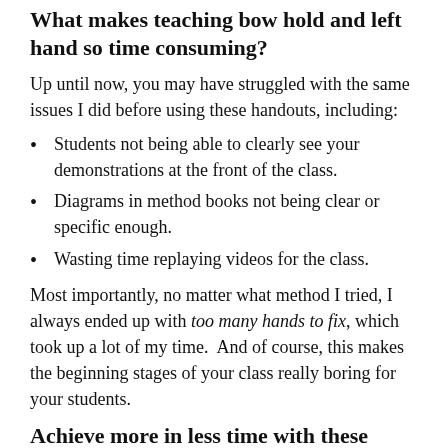What makes teaching bow hold and left hand so time consuming?
Up until now, you may have struggled with the same issues I did before using these handouts, including:
Students not being able to clearly see your demonstrations at the front of the class.
Diagrams in method books not being clear or specific enough.
Wasting time replaying videos for the class.
Most importantly, no matter what method I tried, I always ended up with too many hands to fix, which took up a lot of my time.  And of course, this makes the beginning stages of your class really boring for your students.
Achieve more in less time with these smart handouts!
It is my mission to make teaching strings as easy as